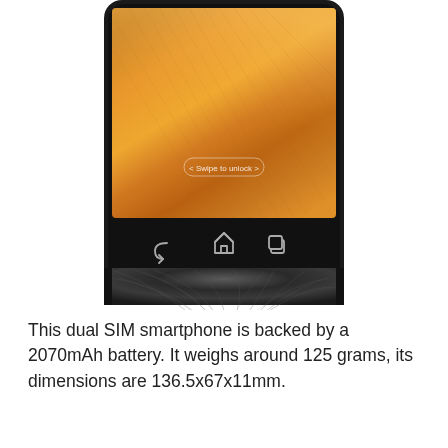[Figure (photo): Bottom portion of a black smartphone showing an orange/golden wood-texture lock screen with 'Swipe to unlock' text, three navigation buttons (back, home, recent apps), and a circular brushed-metal pattern at the bottom.]
This dual SIM smartphone is backed by a 2070mAh battery. It weighs around 125 grams, its dimensions are 136.5x67x11mm.